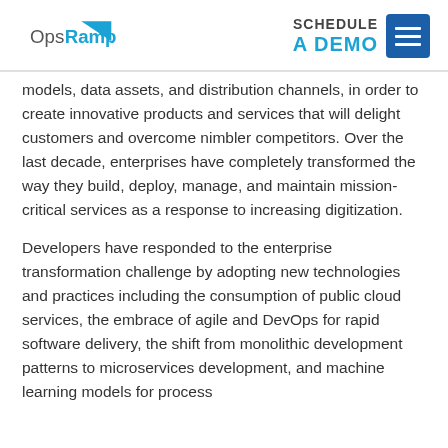OpsRamp | SCHEDULE A DEMO
models, data assets, and distribution channels, in order to create innovative products and services that will delight customers and overcome nimbler competitors. Over the last decade, enterprises have completely transformed the way they build, deploy, manage, and maintain mission-critical services as a response to increasing digitization.
Developers have responded to the enterprise transformation challenge by adopting new technologies and practices including the consumption of public cloud services, the embrace of agile and DevOps for rapid software delivery, the shift from monolithic development patterns to microservices development, and machine learning models for process